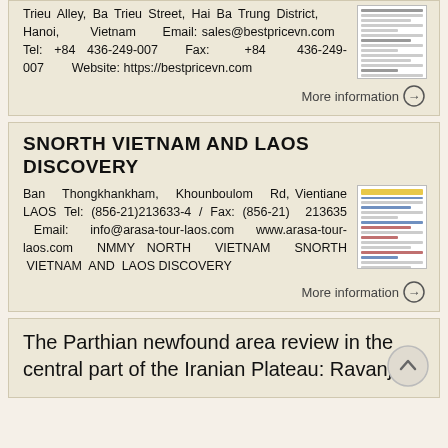Trieu Alley, Ba Trieu Street, Hai Ba Trung District, Hanoi, Vietnam Email: sales@bestpricevn.com Tel: +84 436-249-007 Fax: +84 436-249-007 Website: https://bestpricevn.com
More information →
SNORTH VIETNAM AND LAOS DISCOVERY
Ban Thongkhankham, Khounboulom Rd, Vientiane LAOS Tel: (856-21)213633-4 / Fax: (856-21) 213635 Email: info@arasa-tour-laos.com www.arasa-tour-laos.com NMMY NORTH VIETNAM SNORTH VIETNAM AND LAOS DISCOVERY
More information →
The Parthian newfound area review in the central part of the Iranian Plateau: Ravanj-